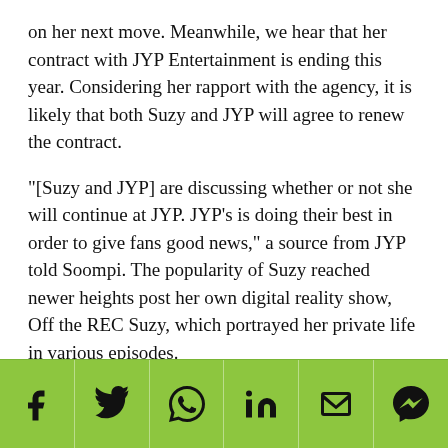on her next move. Meanwhile, we hear that her contract with JYP Entertainment is ending this year. Considering her rapport with the agency, it is likely that both Suzy and JYP will agree to renew the contract.
"[Suzy and JYP] are discussing whether or not she will continue at JYP. JYP's is doing their best in order to give fans good news," a source from JYP told Soompi. The popularity of Suzy reached newer heights post her own digital reality show, Off the REC Suzy, which portrayed her private life in various episodes.
The show, directed by Choi Jae Yoon, was unveiled on Facebook, YouTube, Suzy's V LIVE channel, and other platforms on January 15 at 12 p.m. KST. The show helps fans to get a glimpse of her everyday private life as a
Social share icons: Facebook, Twitter, WhatsApp, LinkedIn, Email, Messenger